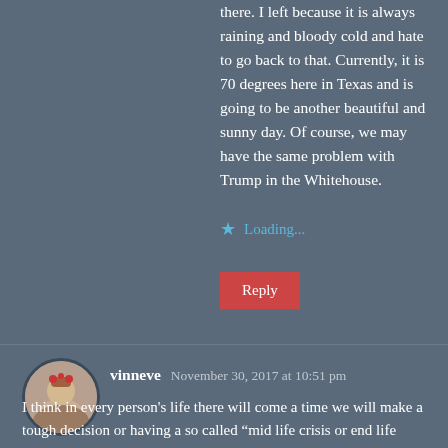there. I left because it is always raining and bloody cold and hate to go back to that. Currently, it is 70 degrees here in Texas and is going to be another beautiful and sunny day. Of course, we may have the same problem with Trump in the Whitehouse.
Loading...
Reply
vinneve November 30, 2017 at 10:51 pm
I think in every person's life there will come a time we will make a tough decision or having a so called "mid life crisis or end life crisis" as what you just said. I say you go to a place where you think you will be happy and contented for the rest of your life. Goodluck!